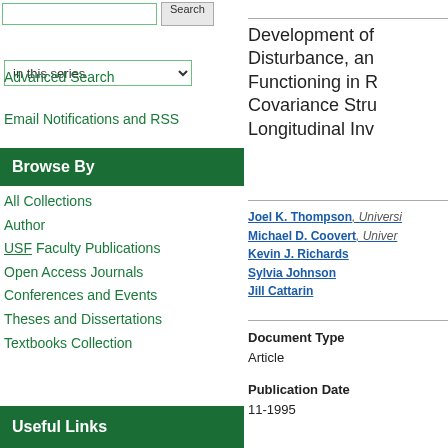in this series
Advanced Search
Email Notifications and RSS
Browse By
All Collections
Author
USF Faculty Publications
Open Access Journals
Conferences and Events
Theses and Dissertations
Textbooks Collection
Useful Links
Development of Disturbance, and Functioning in R Covariance Stru Longitudinal Inv
Joel K. Thompson, University of South Florida; Michael D. Coovert, University of South Florida; Kevin J. Richards; Sylvia Johnson; Jill Cattarin
Document Type
Article
Publication Date
11-1995